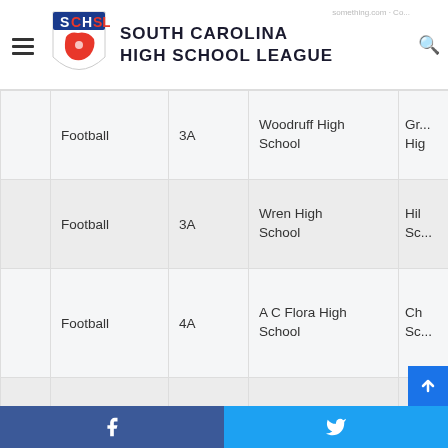[Figure (logo): South Carolina High School League logo with SCHSL shield emblem in red, white and blue, with text SOUTH CAROLINA HIGH SCHOOL LEAGUE]
|  | Sport | Class | Team 1 | Team 2 |
| --- | --- | --- | --- | --- |
|  | Football | 3A | Woodruff High School | Gr... Hig... |
|  | Football | 3A | Wren High School | Hil... Sc... |
|  | Football | 4A | A C Flora High School | Ch... Sc... |
|  | Football | 4A | Hartsville | We... Hig... |
|  |  |  |  |  |